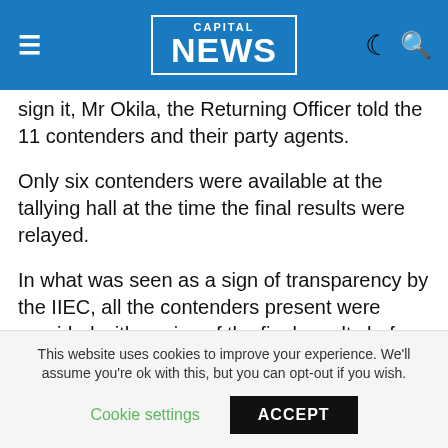CAPITAL NEWS
sign it, Mr Okila, the Returning Officer told the 11 contenders and their party agents.
Only six contenders were available at the tallying hall at the time the final results were relayed.
In what was seen as a sign of transparency by the IIEC, all the contenders present were provided with copies of the final results before they were given the Form 17 A to sign.
Mr Onyancha’s party agents did not, however, sign the form.
This website uses cookies to improve your experience. We’ll assume you’re ok with this, but you can opt-out if you wish.
Cookie settings    ACCEPT